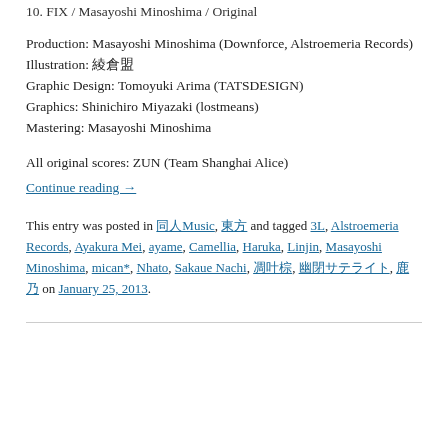10. FIX / Masayoshi Minoshima / Original
Production: Masayoshi Minoshima (Downforce, Alstroemeria Records)
Illustration: 綾倉盟
Graphic Design: Tomoyuki Arima (TATSDESIGN)
Graphics: Shinichiro Miyazaki (lostmeans)
Mastering: Masayoshi Minoshima
All original scores: ZUN (Team Shanghai Alice)
Continue reading →
This entry was posted in 同人Music, 東方 and tagged 3L, Alstroemeria Records, Ayakura Mei, ayame, Camellia, Haruka, Linjin, Masayoshi Minoshima, mican*, Nhato, Sakaue Nachi, 凋叶棕, 幽閉サテライト, 鹿乃 on January 25, 2013.